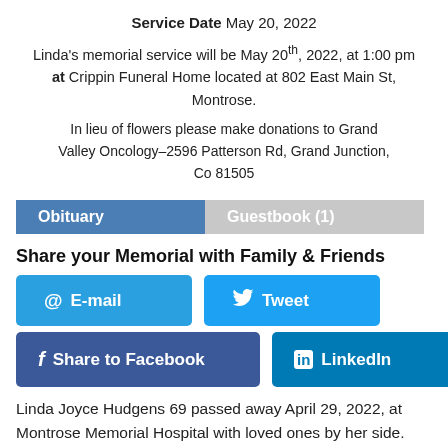Service Date May 20, 2022
Linda's memorial service will be May 20th, 2022, at 1:00 pm at Crippin Funeral Home located at 802 East Main St, Montrose.
In lieu of flowers please make donations to Grand Valley Oncology–2596 Patterson Rd, Grand Junction, Co 81505
Obituary
Guestbook (1)
Share your Memorial with Family & Friends
E-mail
Tweet
Share to Facebook
LinkedIn
Linda Joyce Hudgens 69 passed away April 29, 2022, at Montrose Memorial Hospital with loved ones by her side.